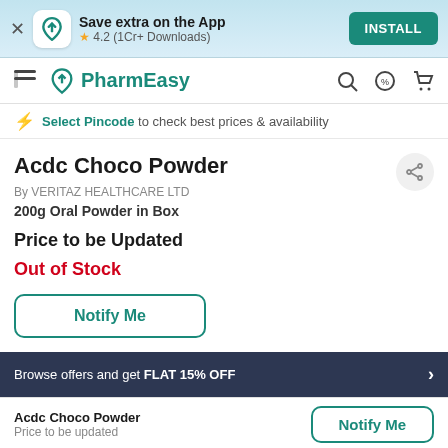Save extra on the App | ★ 4.2 (1Cr+ Downloads) | INSTALL
PharmEasy
Select Pincode to check best prices & availability
Acdc Choco Powder
By VERITAZ HEALTHCARE LTD
200g Oral Powder in Box
Price to be Updated
Out of Stock
Notify Me
Browse offers and get FLAT 15% OFF
Acdc Choco Powder
Price to be updated
Notify Me